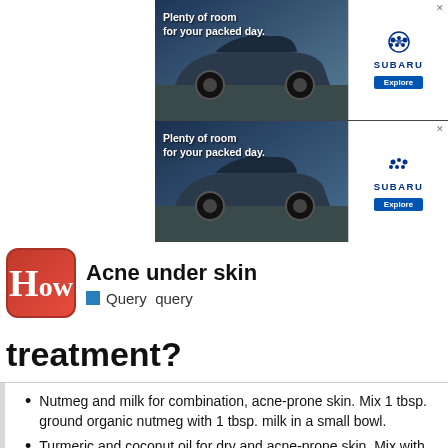[Figure (other): Subaru advertisement banner showing SUV car with text 'Plenty of room for your packed day.' and Subaru logo with Explore button, duplicated twice]
Acne under skin
Query  query
treatment?
Nutmeg and milk for combination, acne-prone skin. Mix 1 tbsp. ground organic nutmeg with 1 tbsp. milk in a small bowl.
Turmeric and coconut oil for dry and acne-prone skin. Mix with 1/2 tsp. turmeric and 1/2 tsp. coconut oil in a
[Figure (other): Popup advertisement: '1 Simple Routine That Melts Away Belly Fat' from Health Gut Boost | Sponsored, with image of person cooking]
[Figure (logo): Sephora advertisement banner at the bottom with Sephora logo]